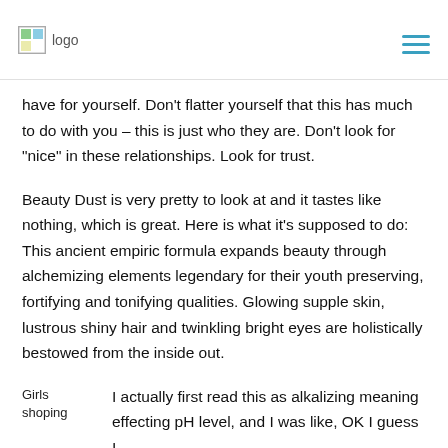logo [navigation menu]
have for yourself. Don’t flatter yourself that this has much to do with you – this is just who they are. Don’t look for “nice” in these relationships. Look for trust.
Beauty Dust is very pretty to look at and it tastes like nothing, which is great. Here is what it’s supposed to do: This ancient empiric formula expands beauty through alchemizing elements legendary for their youth preserving, fortifying and tonifying qualities. Glowing supple skin, lustrous shiny hair and twinkling bright eyes are holistically bestowed from the inside out.
Girls shoping   I actually first read this as alkalizing meaning effecting pH level, and I was like, OK I guess I